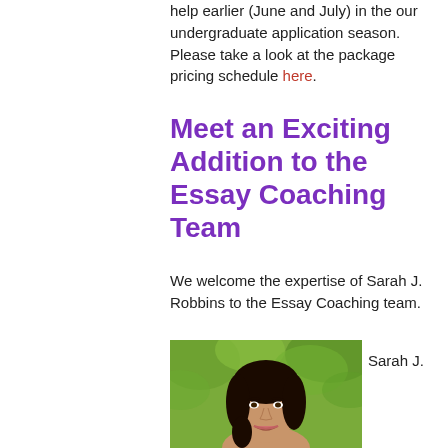help earlier (June and July) in the our undergraduate application season.  Please take a look at the package pricing schedule here.
Meet an Exciting Addition to the Essay Coaching Team
We welcome the expertise of Sarah J. Robbins to the Essay Coaching team.
[Figure (photo): Headshot photo of Sarah J. Robbins, a woman with dark curly hair, smiling, with a green leafy background.]
Sarah J.